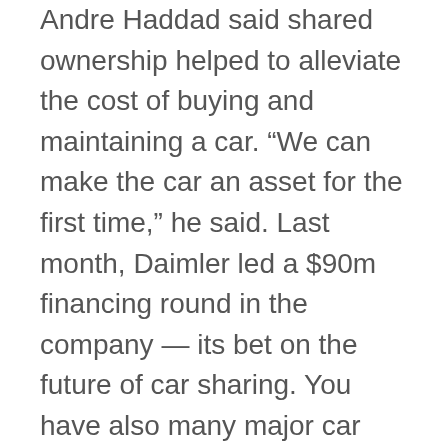Andre Haddad said shared ownership helped to alleviate the cost of buying and maintaining a car. “We can make the car an asset for the first time,” he said. Last month, Daimler led a $90m financing round in the company — its bet on the future of car sharing. You have also many major car manufacturers, like Porsche and Hyundai offering subscription services for cars. And now not just cars but even tyres can be subscribed for with Z-Tyre’s world first tyre subscription service.
As technology becomes more deeply ingrained into products, the very notion of